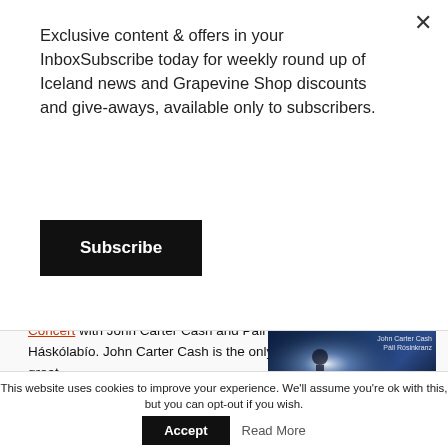Exclusive content & offers in your InboxSubscribe today for weekly round up of Iceland news and Grapevine Shop discounts and give-aways, available only to subscribers.
Subscribe
Concert with John Carter Cash and Páll Rósinkranz at Háskólabío. John Carter Cash is the only son of the late, great Johnny Cash and he is going to play some of his dad's hits with singer-songwriter Páll Rósinkranz, American singer Ana Cristina, guitarist Dave Deager from Nashville, Margrét Eir and Valgerður Guðnadóttir. Tickets are 7,990 ISK, and they are going
[Figure (photo): Concert poster showing dark blue tones with text '7. MARS HÁSKÓLABÍO John Carter Cash Páll Rósinkranz']
This website uses cookies to improve your experience. We'll assume you're ok with this, but you can opt-out if you wish.
Accept
Read More